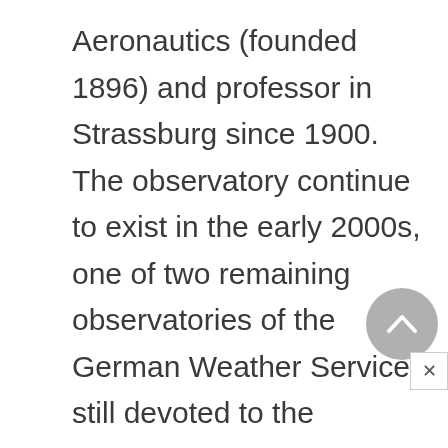Aeronautics (founded 1896) and professor in Strassburg since 1900. The observatory continue to exist in the early 2000s, one of two remaining observatories of the German Weather Service, still devoted to the monitoring of vertical profiles of atmospheric parameters. That the observatory kept its tasks nearly unchanged for over a century demonstrates the essential soundness of Assmann's scientific vision. After retirement, Assmann moved to Giessen and lectured at the